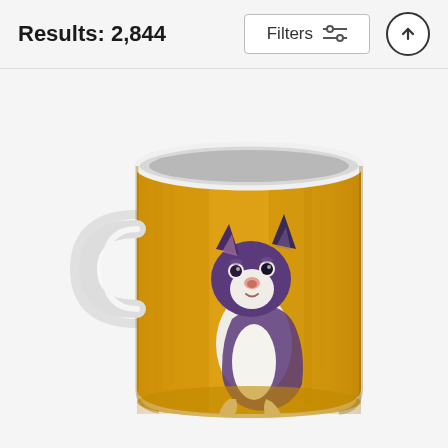Results: 2,844
[Figure (screenshot): Filters button with sliders icon]
[Figure (photo): A ceramic coffee mug with a colorful painting of a Boston Terrier dog on a golden/yellow background. The dog is illustrated in purple, white, and brown tones, sitting upright and looking upward. The mug is white on the inside and handle area, with the golden artwork wrapping around the cylindrical body.]